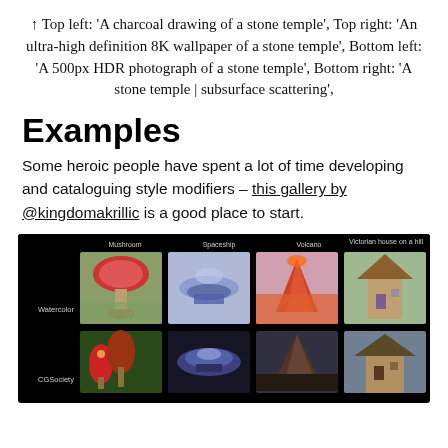↑ Top left: 'A charcoal drawing of a stone temple', Top right: 'An ultra-high definition 8K wallpaper of a stone temple', Bottom left: 'A 500px HDR photograph of a stone temple', Bottom right: 'A stone temple | subsurface scattering',
Examples
Some heroic people have spent a lot of time developing and cataloguing style modifiers – this gallery by @kingdomakrillic is a good place to start.
[Figure (other): A gallery grid on a black background showing AI-generated images organised by style rows (Watercolor, CGSociety) and subject columns (Mushroom, Spaceship, Volcano, Victorian house on a hill). Watercolor row shows colourful watercolour illustrations; CGSociety row shows more rendered 3D-style images.]